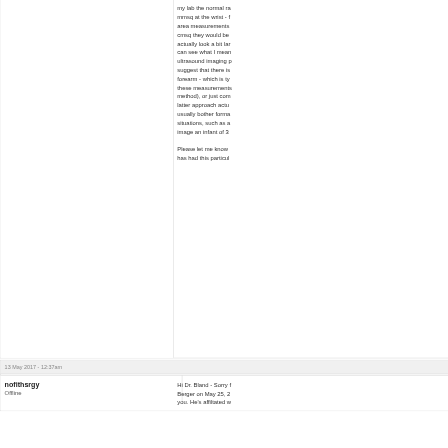my lab the normal ra mmsq at the wrist - f area measurements cmsq they would be actually look a bit la can see what I mean ultrasound imaging p suggest that there is forearm - which is ty these measurements method), or just com latter approach actu usually bother forma situations, such as a image an infant of 3

Please let me know has had this particu
13 May 2017 - 12:37am
nofithsrgy
Offline
Hi Dr. Bland - Sorry f Berger on May 25, 2 you. He's affiltated w